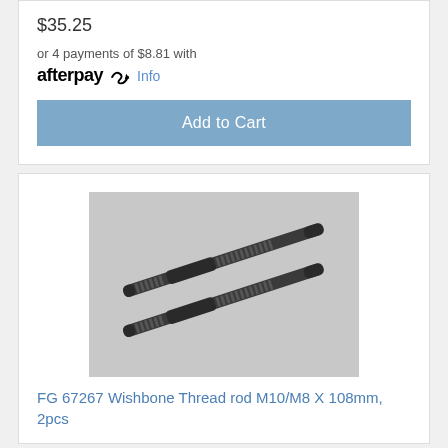$35.25
or 4 payments of $8.81 with
afterpay  Info
Add to Cart
[Figure (photo): Two dark grey metal threaded rods (wishbone thread rods M10/M8 x 108mm) lying diagonally on a light grey background]
FG 67267 Wishbone Thread rod M10/M8 X 108mm, 2pcs